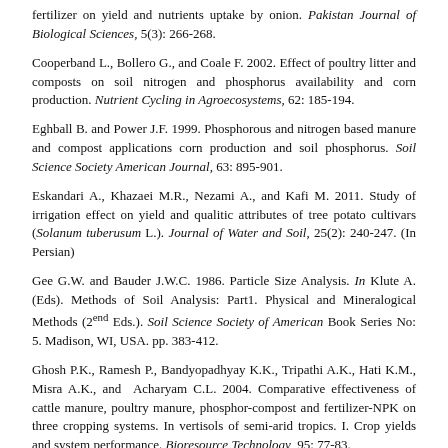fertilizer on yield and nutrients uptake by onion. Pakistan Journal of Biological Sciences, 5(3): 266-268.
Cooperband L., Bollero G., and Coale F. 2002. Effect of poultry litter and composts on soil nitrogen and phosphorus availability and corn production. Nutrient Cycling in Agroecosystems, 62: 185-194.
Eghball B. and Power J.F. 1999. Phosphorous and nitrogen based manure and compost applications corn production and soil phosphorus. Soil Science Society American Journal, 63: 895-901.
Eskandari A., Khazaei M.R., Nezami A., and Kafi M. 2011. Study of irrigation effect on yield and qualitic attributes of tree potato cultivars (Solanum tuberusum L.). Journal of Water and Soil, 25(2): 240-247. (In Persian)
Gee G.W. and Bauder J.W.C. 1986. Particle Size Analysis. In Klute A. (Eds). Methods of Soil Analysis: Part1. Physical and Mineralogical Methods (2end Eds.). Soil Science Society of American Book Series No: 5. Madison, WI, USA. pp. 383-412.
Ghosh P.K., Ramesh P., Bandyopadhyay K.K., Tripathi A.K., Hati K.M., Misra A.K., and Acharyam C.L. 2004. Comparative effectiveness of cattle manure, poultry manure, phosphor-compost and fertilizer-NPK on three cropping systems. In vertisols of semi-arid tropics. I. Crop yields and system performance. Bioresource Technology, 95: 77-83.
Jones J. 2001. Laboratory Guide for Conducting Soil Tests and Plant...